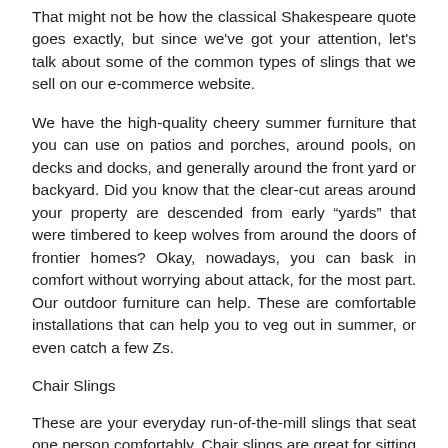That might not be how the classical Shakespeare quote goes exactly, but since we've got your attention, let's talk about some of the common types of slings that we sell on our e-commerce website.
We have the high-quality cheery summer furniture that you can use on patios and porches, around pools, on decks and docks, and generally around the front yard or backyard. Did you know that the clear-cut areas around your property are descended from early “yards” that were timbered to keep wolves from around the doors of frontier homes? Okay, nowadays, you can bask in comfort without worrying about attack, for the most part. Our outdoor furniture can help. These are comfortable installations that can help you to veg out in summer, or even catch a few Zs.
Chair Slings
These are your everyday run-of-the-mill slings that seat one person comfortably. Chair slings are great for sitting around a table, or for various kinds of event seating, like watching someone play the guitar or some other more ...